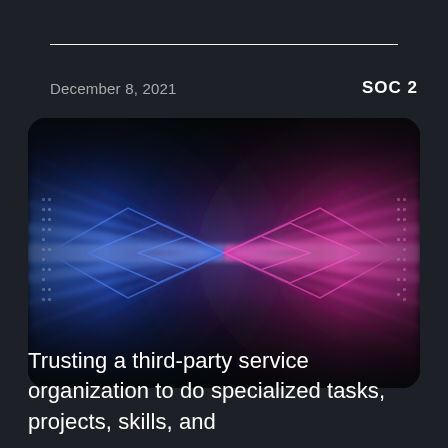December 8, 2021
SOC 2
[Figure (illustration): Abstract neon light tunnel with blue on the left and pink/magenta on the right, symmetrical X-shaped light beams converging at the center, dark background with glowing LED-like dots on the sides, rounded rectangle frame]
Trusting a third-party service organization to do specialized tasks, projects, skills, and